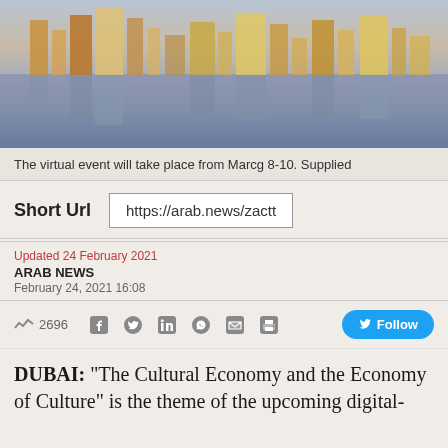[Figure (photo): Dubai skyline reflected in water, photographed at dusk with colorful lights and buildings mirrored in calm water]
The virtual event will take place from Marcg 8-10. Supplied
Short Url   https://arab.news/zactt
Updated 24 February 2021
ARAB NEWS
February 24, 2021 16:08
2696  [social icons]  Follow
DUBAI: “The Cultural Economy and the Economy of Culture” is the theme of the upcoming digital-